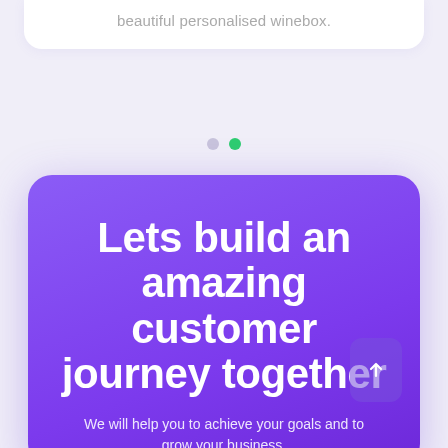beautiful personalised winebox.
[Figure (infographic): Two pagination dots: one grey (inactive) and one green (active)]
Lets build an amazing customer journey together
We will help you to achieve your goals and to grow your business.